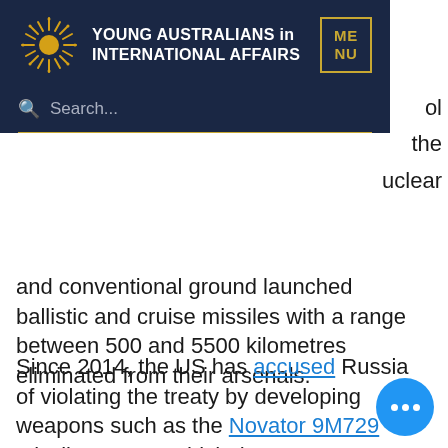YOUNG AUSTRALIANS in INTERNATIONAL AFFAIRS | MENU | Search...
and conventional ground launched ballistic and cruise missiles with a range between 500 and 5500 kilometres eliminated from their arsenals.
Since 2014, the US has accused Russia of violating the treaty by developing weapons such as the Novator 9M729 missile system, which the US argues has the capability to be ground launched and to reach distances within the banned ran…